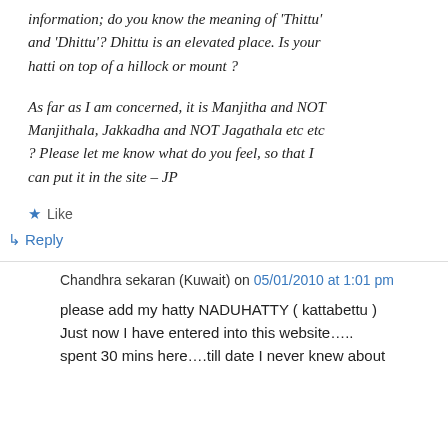information; do you know the meaning of 'Thittu' and 'Dhittu'? Dhittu is an elevated place. Is your hatti on top of a hillock or mount ?
As far as I am concerned, it is Manjitha and NOT Manjithala, Jakkadha and NOT Jagathala etc etc ? Please let me know what do you feel, so that I can put it in the site – JP
★ Like
↳ Reply
Chandhra sekaran (Kuwait) on 05/01/2010 at 1:01 pm
please add my hatty NADUHATTY ( kattabettu ) Just now I have entered into this website….. spent 30 mins here….till date I never knew about